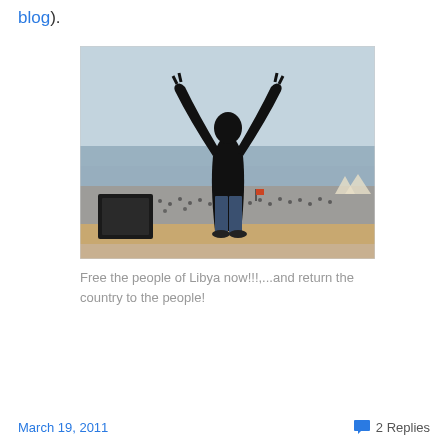blog).
[Figure (photo): A person standing with arms raised making peace signs, viewed from behind, overlooking a large crowd on a beach/waterfront area. A speaker/monitor is visible to the left.]
Free the people of Libya now!!!,...and return the country to the people!
March 19, 2011   💬 2 Replies